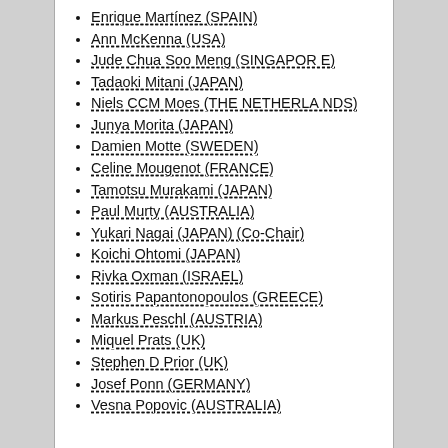Enrique Martínez (SPAIN)
Ann McKenna (USA)
Jude Chua Soo Meng (SINGAPORE)
Tadaoki Mitani (JAPAN)
Niels CCM Moes (THE NETHERLANDS)
Junya Morita (JAPAN)
Damien Motte (SWEDEN)
Celine Mougenot (FRANCE)
Tamotsu Murakami (JAPAN)
Paul Murty (AUSTRALIA)
Yukari Nagai (JAPAN) (Co-Chair)
Koichi Ohtomi (JAPAN)
Rivka Oxman (ISRAEL)
Sotiris Papantonopoulos (GREECE)
Markus Peschl (AUSTRIA)
Miquel Prats (UK)
Stephen D Prior (UK)
Josef Ponn (GERMANY)
Vesna Popovic (AUSTRALIA)